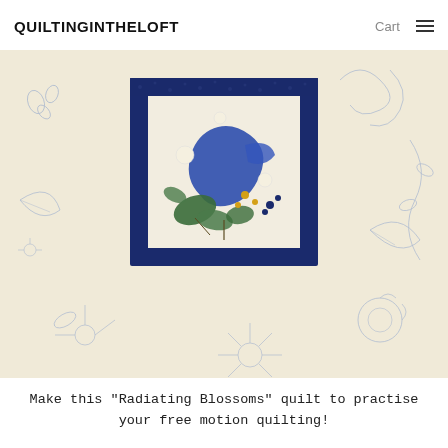QUILTINGINTHELOFT  Cart
[Figure (photo): A quilt block featuring a blue floral botanical fabric panel centered in a deep navy blue border, set on a cream quilted background with free-motion quilted floral and leaf designs stitched in light blue thread throughout the background.]
Make this "Radiating Blossoms" quilt to practise your free motion quilting!